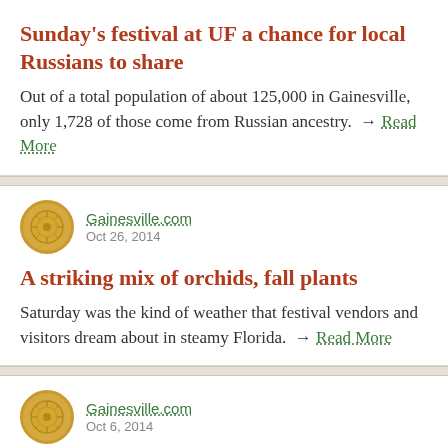Sunday's festival at UF a chance for local Russians to share
Out of a total population of about 125,000 in Gainesville, only 1,728 of those come from Russian ancestry. → Read More
Gainesville.com
Oct 26, 2014
A striking mix of orchids, fall plants
Saturday was the kind of weather that festival vendors and visitors dream about in steamy Florida. → Read More
Gainesville.com
Oct 6, 2014